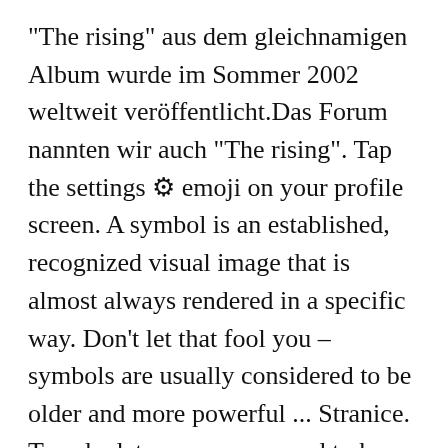"The rising" aus dem gleichnamigen Album wurde im Sommer 2002 weltweit veröffentlicht.Das Forum nannten wir auch "The rising". Tap the settings ⚙ emoji on your profile screen. A symbol is an established, recognized visual image that is almost always rendered in a specific way. Don't let that fool you – symbols are usually considered to be older and more powerful ... Stranice. To calculate yours, you need to know where you were born, as well as the date and the time of your birth. The Ascendant (abbreviation AC) is the sign that rises on the eastern horizon at time of birth – more precisely the point of ... Share via: Facebook; Twitter; Copy Link; Email; Print; While we wait for social apps to possibly